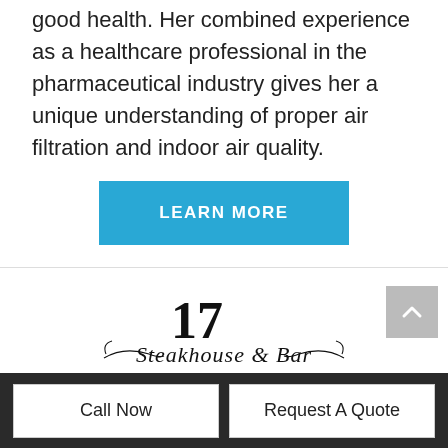good health. Her combined experience as a healthcare professional in the pharmaceutical industry gives her a unique understanding of proper air filtration and indoor air quality.
[Figure (other): LEARN MORE button — a blue rectangular call-to-action button with white uppercase text]
[Figure (logo): 17 Steakhouse & Bar logo with stylized script text and the number 17 in bold serif]
17 Steakhouse & Bar
Call Now   Request A Quote